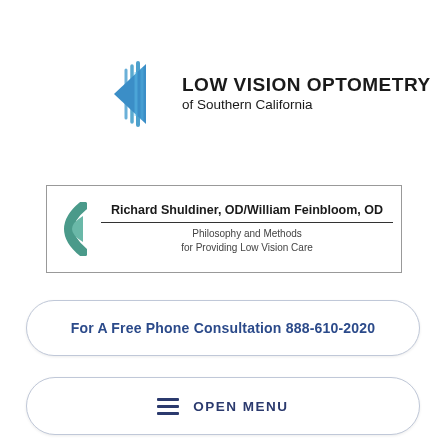[Figure (logo): Low Vision Optometry of Southern California logo: blue triangular arrow icon with lines, and text 'LOW VISION OPTOMETRY of Southern California']
[Figure (illustration): Book/publication box with teal eye/lens icon on the left, title 'Richard Shuldiner, OD/William Feinbloom, OD' with subtitle 'Philosophy and Methods for Providing Low Vision Care']
For A Free Phone Consultation 888-610-2020
OPEN MENU